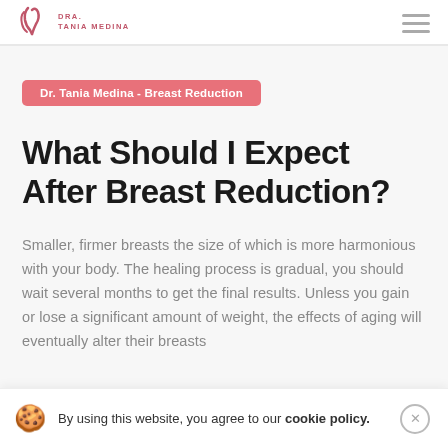Dr. Tania Medina logo and navigation
Dr. Tania Medina - Breast Reduction
What Should I Expect After Breast Reduction?
Smaller, firmer breasts the size of which is more harmonious with your body. The healing process is gradual, you should wait several months to get the final results. Unless you gain or lose a significant amount of weight, the effects of aging will eventually alter their breasts
By using this website, you agree to our cookie policy.